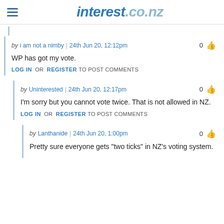interest.co.nz
by i am not a nimby | 24th Jun 20, 12:12pm
WP has got my vote.
LOG IN OR REGISTER TO POST COMMENTS
by Uninterested | 24th Jun 20, 12:17pm
I'm sorry but you cannot vote twice. That is not allowed in NZ.
LOG IN OR REGISTER TO POST COMMENTS
by Lanthanide | 24th Jun 20, 1:00pm
Pretty sure everyone gets "two ticks" in NZ's voting system.